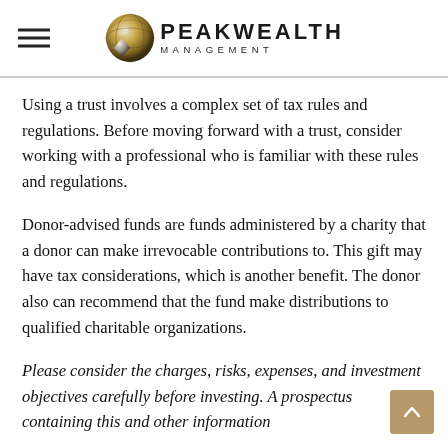PEAK WEALTH MANAGEMENT
Using a trust involves a complex set of tax rules and regulations. Before moving forward with a trust, consider working with a professional who is familiar with these rules and regulations.
Donor-advised funds are funds administered by a charity that a donor can make irrevocable contributions to. This gift may have tax considerations, which is another benefit. The donor also can recommend that the fund make distributions to qualified charitable organizations.
Please consider the charges, risks, expenses, and investment objectives carefully before investing. A prospectus containing this and other information about the donor-advised fund can be obtained from